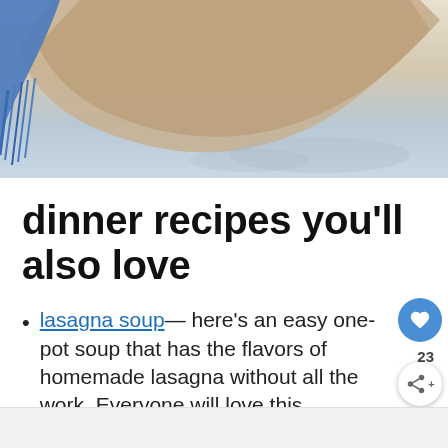[Figure (photo): Photo of wooden board or tray on a light blue surface, with blue fringe visible on the left side, and some food items in the upper right corner]
dinner recipes you'll also love
lasagna soup— here's an easy one-pot soup that has the flavors of homemade lasagna without all the work. Everyone will love this.